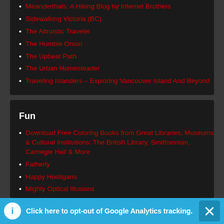Meanderthals: A Hiking Blog by Internet Brothers
Sidewalking Victoria (BC)
The Altruistic Traveler
The Humble Onion
The Upbeat Path
The Urban Homesteader
Traveling Islanders – Exploring Vancouver Island And Beyond
Fun
Download Free Coloring Books from Great Libraries, Museums & Cultural Institutions: The British Library, Smithsonian, Carnegie Hall & More
Fatherly
Happy Hooligans
Mighty Optical Illusions
Origami University
Click here to opt-out of Google Analytics tracking.